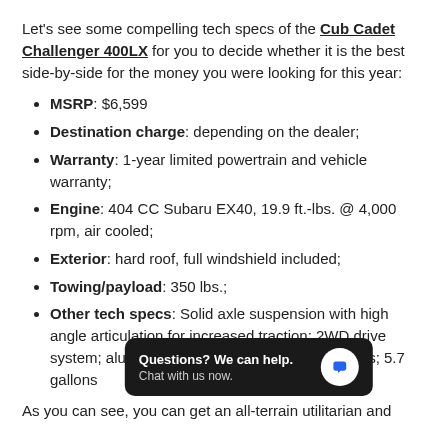Let's see some compelling tech specs of the Cub Cadet Challenger 400LX for you to decide whether it is the best side-by-side for the money you were looking for this year:
MSRP: $6,599
Destination charge: depending on the dealer;
Warranty: 1-year limited powertrain and vehicle warranty;
Engine: 404 CC Subaru EX40, 19.9 ft.-lbs. @ 4,000 rpm, air cooled;
Exterior: hard roof, full windshield included;
Towing/payload: 350 lbs.;
Other tech specs: Solid axle suspension with high angle articulation for increased traction; 2WD drive system; aluminum alloy wheels with off-road tires; 5.7 gallons ... h speed.
[Figure (screenshot): Chat widget overlay: dark rounded rectangle with text 'Questions? We can help. Chat with us now.' and a blue speech bubble icon.]
As you can see, you can get an all-terrain utilitarian and